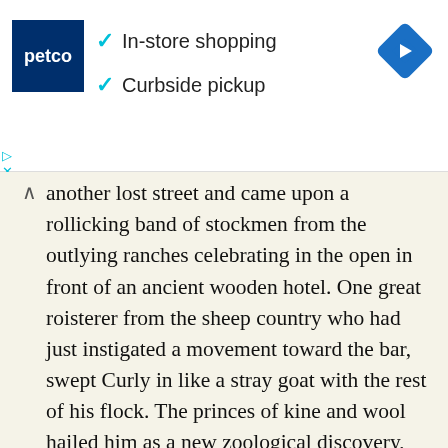[Figure (other): Petco advertisement banner showing Petco logo, checkmarks for 'In-store shopping' and 'Curbside pickup', and a blue navigation diamond icon on the right]
another lost street and came upon a rollicking band of stockmen from the outlying ranches celebrating in the open in front of an ancient wooden hotel. One great roisterer from the sheep country who had just instigated a movement toward the bar, swept Curly in like a stray goat with the rest of his flock. The princes of kine and wool hailed him as a new zoological discovery, and
This website uses cookies to ensure you get the best experience on our website.
Learn more
Got it!
A drizzling, cold Texas rain had begun to fall--an endless,